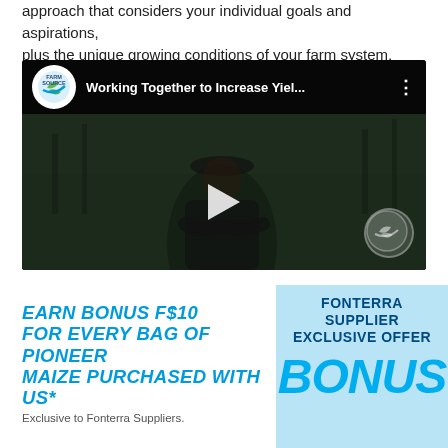approach that considers your individual goals and aspirations, plus the unique growing conditions of your farm system.
[Figure (screenshot): YouTube-style video thumbnail showing a woman in a black cap and shirt standing with arms crossed outdoors at dusk/night. Video title: 'Working Together to Increase Yiel...' with Farm Source logo and play button overlay. Farm Source watermark in bottom right corner.]
EARN BONUS F$10 FOR EVERY BAG OF PIONEER MAIZE PURCHASED WITH US*
Exclusive to Fonterra Suppliers.
[Figure (infographic): Light blue badge/shield graphic with text 'FONTERRA SUPPLIER EXCLUSIVE OFFER' at top and 'BONUS' in large bold cyan letters.]